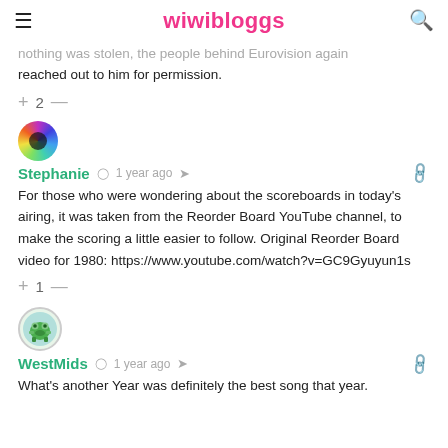wiwibloggs
nothing was stolen, the people behind Eurovision again reached out to him for permission.
+ 2 —
[Figure (photo): User avatar for Stephanie: circular avatar with colorful swirling lights]
Stephanie  🕐 1 year ago  ↗   🔗
For those who were wondering about the scoreboards in today's airing, it was taken from the Reorder Board YouTube channel, to make the scoring a little easier to follow. Original Reorder Board video for 1980: https://www.youtube.com/watch?v=GC9Gyuyun1s
+ 1 —
[Figure (photo): User avatar for WestMids: circular avatar with a green cartoon frog character]
WestMids  🕐 1 year ago  ↗   🔗
What's another Year was definitely the best song that year.